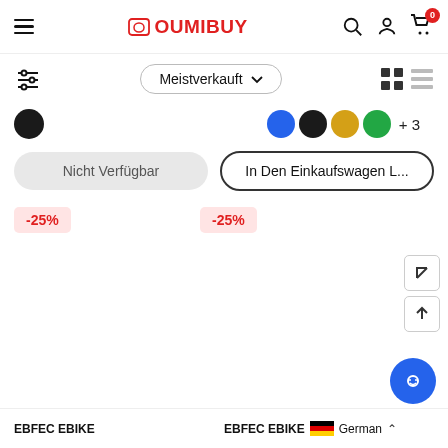OUMIBUY — mobile shopping app header with hamburger menu, search, user, and cart icons (badge: 0)
Meistverkauft
[Figure (screenshot): Filter/sort bar with sliders icon, Meistverkauft dropdown, grid/list view toggle icons]
[Figure (illustration): Color swatches: black (left side), blue, black, gold, green, +3 more (center-right area)]
Nicht Verfügbar
In Den Einkaufswagen L...
-25%
-25%
EBFEC EBIKE
EBFEC EBIKE
German